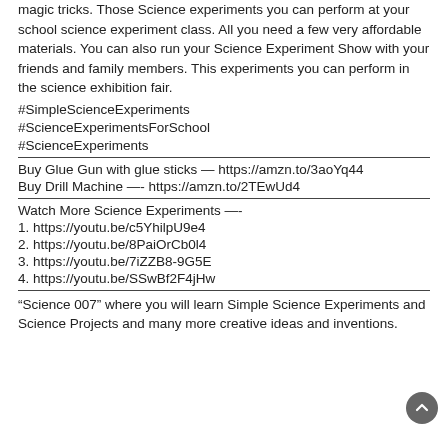magic tricks. Those Science experiments you can perform at your school science experiment class. All you need a few very affordable materials. You can also run your Science Experiment Show with your friends and family members. This experiments you can perform in the science exhibition fair.
#SimpleScienceExperiments
#ScienceExperimentsForSchool
#ScienceExperiments
Buy Glue Gun with glue sticks — https://amzn.to/3aoYq44
Buy Drill Machine —- https://amzn.to/2TEwUd4
Watch More Science Experiments —-
1. https://youtu.be/c5YhilpU9e4
2. https://youtu.be/8PaiOrCb0l4
3. https://youtu.be/7iZZB8-9G5E
4. https://youtu.be/SSwBf2F4jHw
“Science 007” where you will learn Simple Science Experiments and Science Projects and many more creative ideas and inventions.